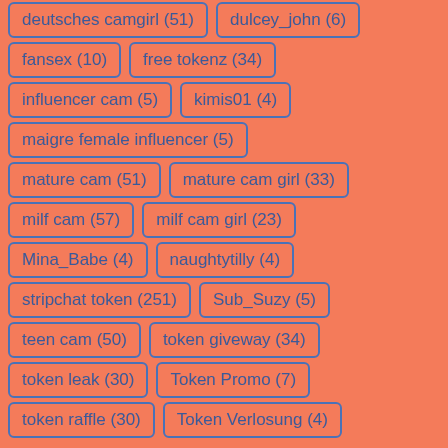deutsches camgirl (51)
dulcey_john (6)
fansex (10)
free tokenz (34)
influencer cam (5)
kimis01 (4)
maigre female influencer (5)
mature cam (51)
mature cam girl (33)
milf cam (57)
milf cam girl (23)
Mina_Babe (4)
naughtytilly (4)
stripchat token (251)
Sub_Suzy (5)
teen cam (50)
token giveway (34)
token leak (30)
Token Promo (7)
token raffle (30)
Token Verlosung (4)